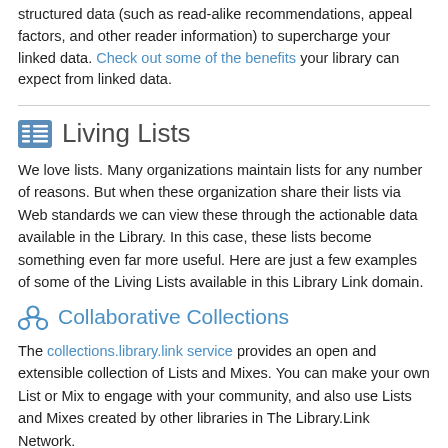structured data (such as read-alike recommendations, appeal factors, and other reader information) to supercharge your linked data. Check out some of the benefits your library can expect from linked data.
Living Lists
We love lists. Many organizations maintain lists for any number of reasons. But when these organization share their lists via Web standards we can view these through the actionable data available in the Library. In this case, these lists become something even far more useful. Here are just a few examples of some of the Living Lists available in this Library Link domain.
Collaborative Collections
The collections.library.link service provides an open and extensible collection of Lists and Mixes. You can make your own List or Mix to engage with your community, and also use Lists and Mixes created by other libraries in The Library.Link Network.